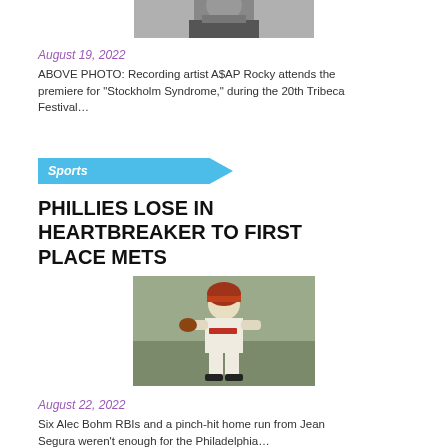[Figure (photo): Partial photo of a person in a suit, cropped at top of page]
August 19, 2022
ABOVE PHOTO: Recording artist A$AP Rocky attends the premiere for “Stockholm Syndrome,” during the 20th Tribeca Festival…
Sports
PHILLIES LOSE IN HEARTBREAKER TO FIRST PLACE METS
[Figure (photo): Philadelphia Phillies baseball player in uniform on the field during a game]
August 22, 2022
Six Alec Bohm RBIs and a pinch-hit home run from Jean Segura weren’t enough for the Philadelphia…